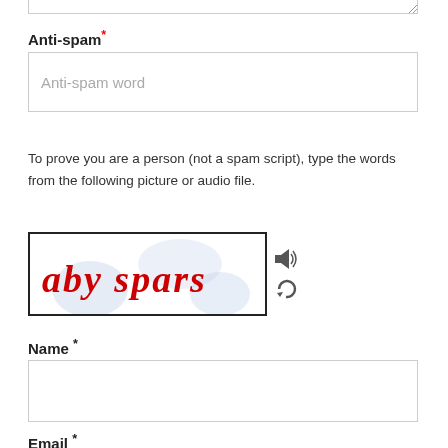Anti-spam*
[Figure (screenshot): Text input field with placeholder text 'Anti-spam word']
To prove you are a person (not a spam script), type the words from the following picture or audio file.
[Figure (screenshot): CAPTCHA image showing handwritten red text 'aby spars' with audio and refresh icons]
Name *
[Figure (screenshot): Empty text input field for Name]
Email *